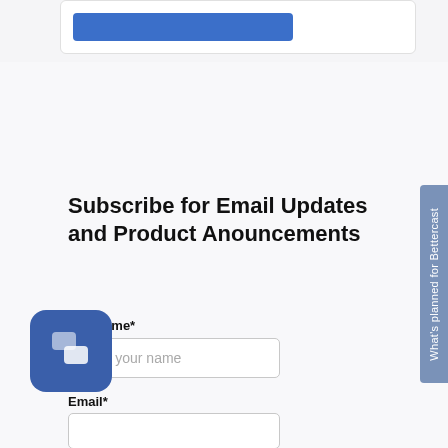[Figure (screenshot): Top card with a blue button/bar inside a white rounded card]
Subscribe for Email Updates and Product Anouncements
Full Name*
[Figure (screenshot): Text input field with placeholder 'Type your name']
Email*
[Figure (screenshot): Email input field]
[Figure (other): Side tab reading 'What's planned for Bettercast' rotated vertically]
[Figure (other): Blue rounded chat widget icon in bottom left corner]